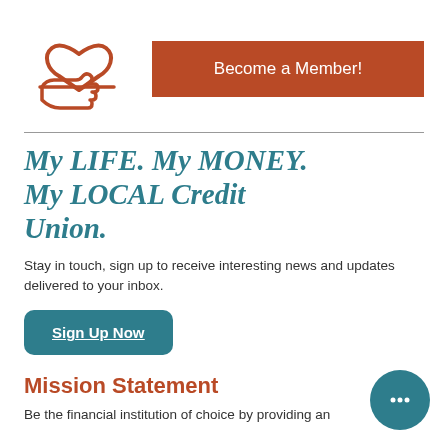[Figure (illustration): Credit union icon: a hand holding a heart, drawn in rust/terracotta color]
Become a Member!
My LIFE. My MONEY. My LOCAL Credit Union.
Stay in touch, sign up to receive interesting news and updates delivered to your inbox.
Sign Up Now
Mission Statement
Be the financial institution of choice by providing an